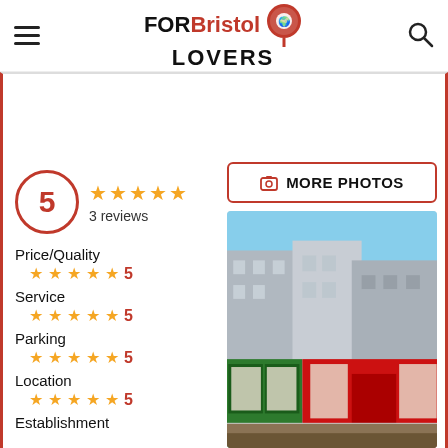FOR Bristol LOVERS
5
3 reviews
Price/Quality  5
Service  5
Parking  5
Location  5
Establishment
[Figure (photo): Street view of shops with red shutters and building facades]
MORE PHOTOS